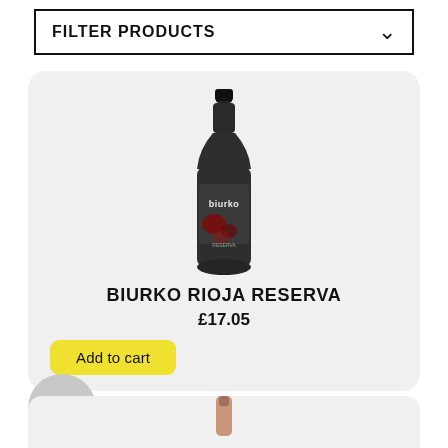FILTER PRODUCTS
[Figure (photo): Dark green wine bottle with 'biurko' label, Biurko Rioja Reserva product image]
BIURKO RIOJA RESERVA
£17.05
Add to cart
[Figure (photo): Partially visible second wine bottle (rosé/pink), bottom of page]